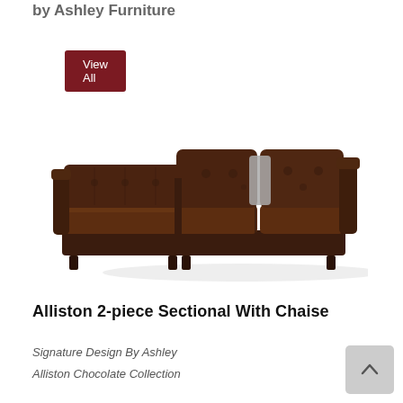by Ashley Furniture
View All
[Figure (photo): Dark brown leather Alliston 2-piece sectional sofa with chaise, tufted back cushions, viewed from a three-quarter angle showing the L-shape configuration with chaise on the left.]
Alliston 2-piece Sectional With Chaise
Signature Design By Ashley
Alliston Chocolate Collection